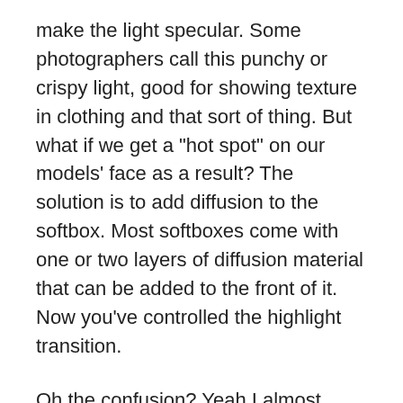make the light specular. Some photographers call this punchy or crispy light, good for showing texture in clothing and that sort of thing. But what if we get a "hot spot" on our models' face as a result? The solution is to add diffusion to the softbox. Most softboxes come with one or two layers of diffusion material that can be added to the front of it. Now you've controlled the highlight transition.
Oh the confusion? Yeah I almost forgot. I often hear people say the light is soft when a specular highlight is gone because they used a large softbox. Which is only partially correct as we have just learned. Here are a couple of things you can try to help demonstrate the quality of light for yourself. Take a very large silver umbrella take a portrait with it fairly close to your subject. Look at the shadow transition. It will be soft because of its relative size. Now look at the highlight. You can hint...